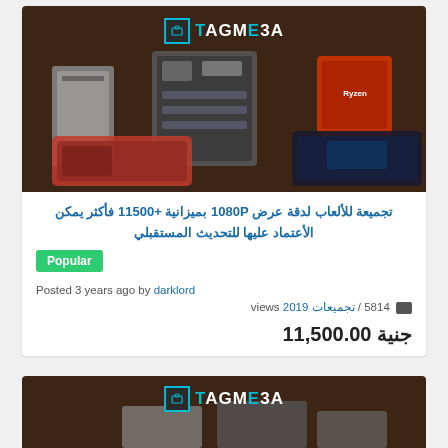[Figure (photo): TAGME3A branded product listing image showing PC components (GPU boxes, motherboard, AMD Ryzen CPU box, PC case, graphics cards) on dark brown background]
تجميعة للألعاب لدقة عرض 1080P بميزانية +11500 فأكثر يمكن الأعتماد عليها للتحديث المستقبلي
Popular
Posted 3 years ago by darklord
🧳 5814 / تجميعات 2019 views
جنية 11,500.00
[Figure (photo): TAGME3A branded product listing image (second card, partial) showing PC components on dark brown background]